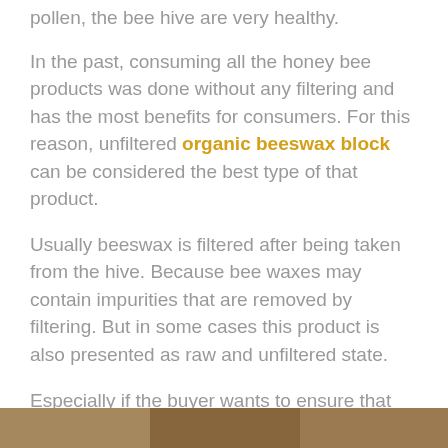pollen, the bee hive are very healthy.
In the past, consuming all the honey bee products was done without any filtering and has the most benefits for consumers. For this reason, unfiltered organic beeswax block can be considered the best type of that product.
Usually beeswax is filtered after being taken from the hive. Because bee waxes may contain impurities that are removed by filtering. But in some cases this product is also presented as raw and unfiltered state.
Especially if the buyer wants to ensure that that product is organic and and original, it tends to buy it in raw and unfiltered form.
[Figure (photo): Bottom strip showing a partial photo, likely of beeswax or honeycomb product]